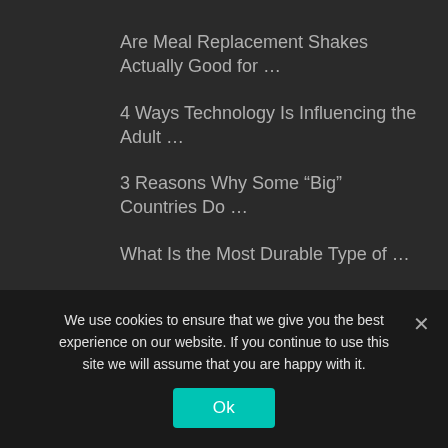Are Meal Replacement Shakes Actually Good for …
4 Ways Technology Is Influencing the Adult …
3 Reasons Why Some “Big” Countries Do …
What Is the Most Durable Type of …
8 Best Self-Cleaning & Mopping Robot Vacuum …
RECENT POSTS
We use cookies to ensure that we give you the best experience on our website. If you continue to use this site we will assume that you are happy with it.